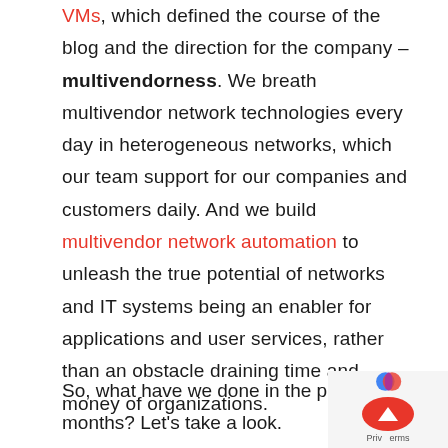VMs, which defined the course of the blog and the direction for the company – multivendorness. We breath multivendor network technologies every day in heterogeneous networks, which our team support for our companies and customers daily. And we build multivendor network automation to unleash the true potential of networks and IT systems being an enabler for applications and user services, rather than an obstacle draining time and money of organizations.
So, what have we done in the past twelve months? Let's take a look.